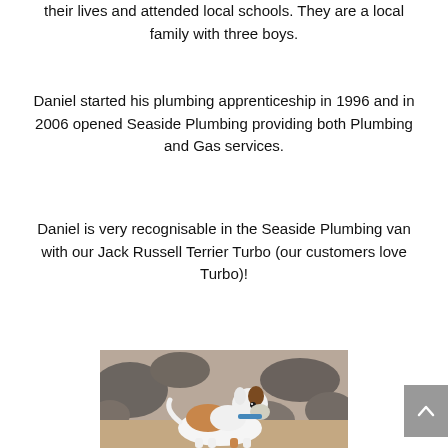their lives and attended local schools. They are a local family with three boys.
Daniel started his plumbing apprenticeship in 1996 and in 2006 opened Seaside Plumbing providing both Plumbing and Gas services.
Daniel is very recognisable in the Seaside Plumbing van with our Jack Russell Terrier Turbo (our customers love Turbo)!
[Figure (photo): A Jack Russell Terrier dog standing on rocks at a beach. The dog is white with brown patches and wearing a blue collar with a yellow tag.]